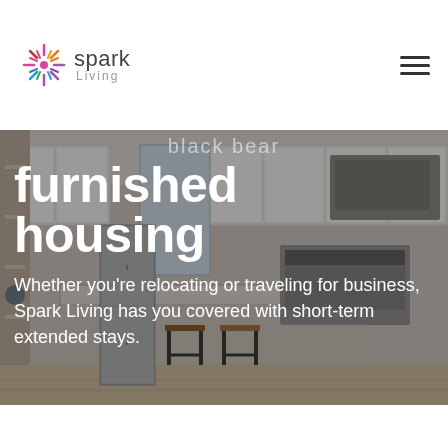[Figure (logo): Spark Living logo with starburst/spark icon and text 'spark Living']
[Figure (photo): Interior kitchen photo with white cabinets, granite countertops, stainless steel appliances, and bar stools, used as hero background image]
furnished housing
Whether you’re relocating or traveling for business, Spark Living has you covered with short-term extended stays.